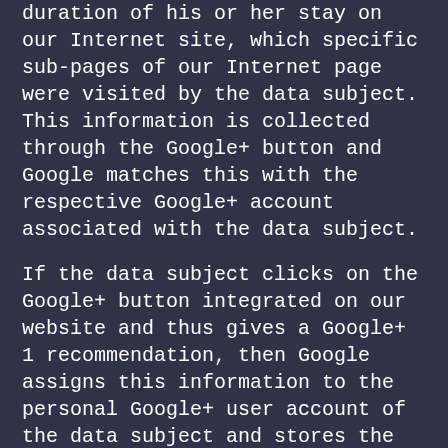duration of his or her stay on our Internet site, which specific sub-pages of our Internet page were visited by the data subject. This information is collected through the Google+ button and Google matches this with the respective Google+ account associated with the data subject.
If the data subject clicks on the Google+ button integrated on our website and thus gives a Google+ 1 recommendation, then Google assigns this information to the personal Google+ user account of the data subject and stores the personal data. Google stores the Google+ 1 recommendation of the data subject, making it publicly available in accordance with the terms and conditions accepted by the data subject in this regard. Subsequently, a Google+ 1 recommendation given by the data subject on this website together with other personal data, such as the Google+ account name used by the data subject and the stored photo, is stored and processed on other Google services, such as search-